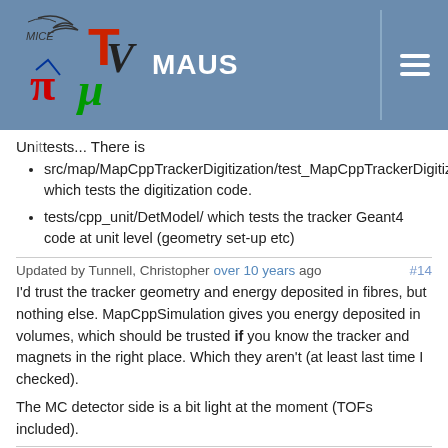MAUS
Unittests... There is
src/map/MapCppTrackerDigitization/test_MapCppTrackerDigitization which tests the digitization code.
tests/cpp_unit/DetModel/ which tests the tracker Geant4 code at unit level (geometry set-up etc)
Updated by Tunnell, Christopher over 10 years ago #14
I'd trust the tracker geometry and energy deposited in fibres, but nothing else. MapCppSimulation gives you energy deposited in volumes, which should be trusted if you know the tracker and magnets in the right place. Which they aren't (at least last time I checked).
The MC detector side is a bit light at the moment (TOFs included).
Updated by Kyberd, Paul over 10 years ago #15
Chris,
Do you have any tests which can be run stand alone which confirm the statements about tracker geometry and energy deposition? It would be useful when we start